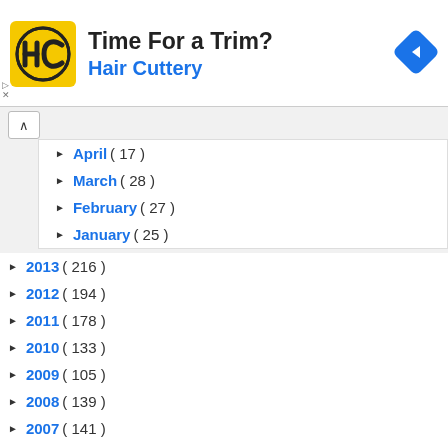[Figure (advertisement): Hair Cuttery advertisement banner with yellow HC logo, title 'Time For a Trim?', subtitle 'Hair Cuttery', and blue navigation diamond icon]
April ( 17 )
March ( 28 )
February ( 27 )
January ( 25 )
2013 ( 216 )
2012 ( 194 )
2011 ( 178 )
2010 ( 133 )
2009 ( 105 )
2008 ( 139 )
2007 ( 141 )
2006 ( 39 )